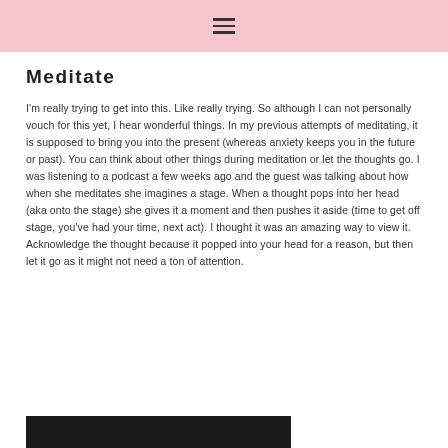☰
Meditate
I'm really trying to get into this. Like really trying. So although I can not personally vouch for this yet, I hear wonderful things. In my previous attempts of meditating, it is supposed to bring you into the present (whereas anxiety keeps you in the future or past). You can think about other things during meditation or let the thoughts go. I was listening to a podcast a few weeks ago and the guest was talking about how when she meditates she imagines a stage. When a thought pops into her head (aka onto the stage) she gives it a moment and then pushes it aside (time to get off stage, you've had your time, next act). I thought it was an amazing way to view it. Acknowledge the thought because it popped into your head for a reason, but then let it go as it might not need a ton of attention.
[Figure (photo): Dark/black image partially visible at the bottom of the page]